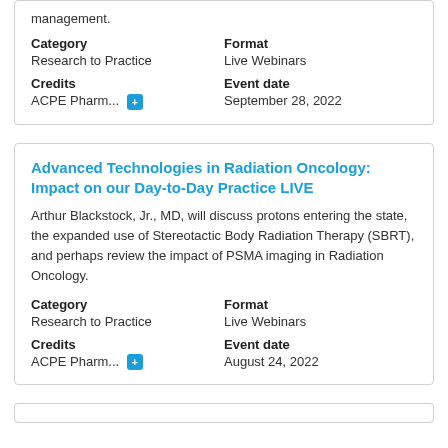management.
Category: Research to Practice | Format: Live Webinars | Credits: ACPE Pharm... | Event date: September 28, 2022
Advanced Technologies in Radiation Oncology: Impact on our Day-to-Day Practice LIVE
Arthur Blackstock, Jr., MD, will discuss protons entering the state, the expanded use of Stereotactic Body Radiation Therapy (SBRT), and perhaps review the impact of PSMA imaging in Radiation Oncology.
Category: Research to Practice | Format: Live Webinars | Credits: ACPE Pharm... | Event date: August 24, 2022